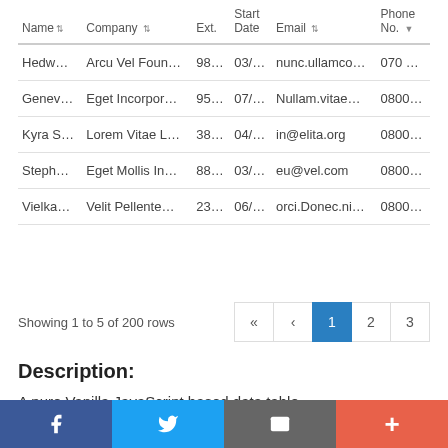| Name | Company | Ext. | Start Date | Email | Phone No. |
| --- | --- | --- | --- | --- | --- |
| Hedw… | Arcu Vel Foun… | 98… | 03/… | nunc.ullamco… | 070 … |
| Genev… | Eget Incorpor… | 95… | 07/… | Nullam.vitae… | 0800… |
| Kyra S… | Lorem Vitae L… | 38… | 04/… | in@elita.org | 0800… |
| Steph… | Eget Mollis In… | 88… | 03/… | eu@vel.com | 0800… |
| Vielka… | Velit Pellente… | 23… | 06/… | orci.Donec.ni… | 0800… |
Showing 1 to 5 of 200 rows
Description:
A pure Vanilla JavaScript based data table component that features dynamic tabular data